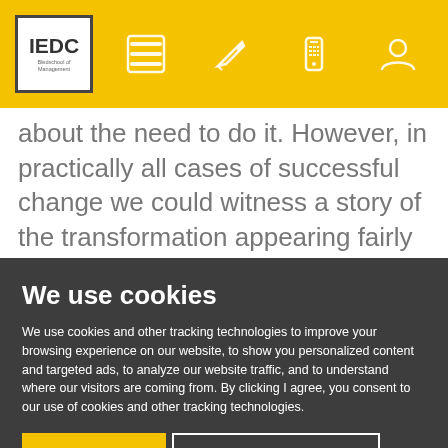[Figure (logo): IEDC logo with navigation bar icons on yellow/gold background header]
about the need to do it. However, in practically all cases of successful change we could witness a story of the transformation appearing fairly early, at latest at the point when the first (rough)
We use cookies
We use cookies and other tracking technologies to improve your browsing experience on our website, to show you personalized content and targeted ads, to analyze our website traffic, and to understand where our visitors are coming from. By clicking I agree, you consent to our use of cookies and other tracking technologies.
I agree | Change my settings